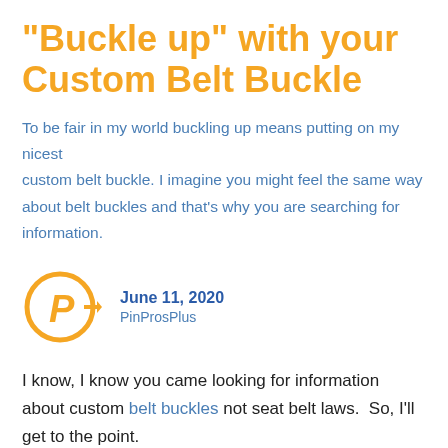“Buckle up” with your Custom Belt Buckle
To be fair in my world buckling up means putting on my nicest custom belt buckle. I imagine you might feel the same way about belt buckles and that’s why you are searching for information.
[Figure (logo): PinProsPlus orange circular logo with arrow]
June 11, 2020
PinProsPlus
I know, I know you came looking for information about custom belt buckles not seat belt laws.  So, I’ll get to the point.
To be fair in my world buckling up means putting on